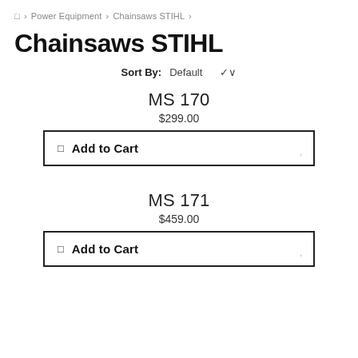□ > Power Equipment > Chainsaws STIHL >
Chainsaws STIHL
Sort By: Default
MS 170
$299.00
□ Add to Cart
MS 171
$459.00
□ Add to Cart